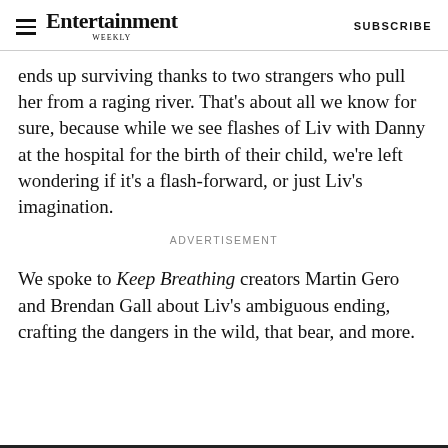Entertainment Weekly  SUBSCRIBE
ends up surviving thanks to two strangers who pull her from a raging river. That's about all we know for sure, because while we see flashes of Liv with Danny at the hospital for the birth of their child, we're left wondering if it's a flash-forward, or just Liv's imagination.
ADVERTISEMENT
We spoke to Keep Breathing creators Martin Gero and Brendan Gall about Liv's ambiguous ending, crafting the dangers in the wild, that bear, and more.